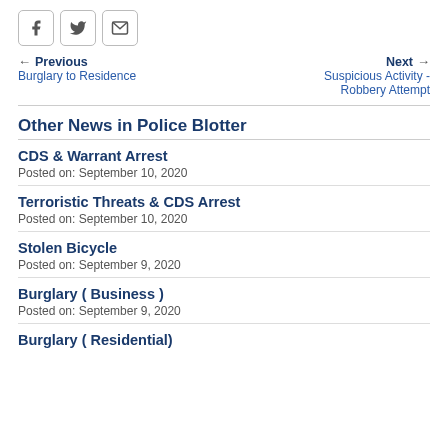[Figure (other): Social sharing buttons: Facebook, Twitter, Email]
← Previous
Burglary to Residence
Next →
Suspicious Activity - Robbery Attempt
Other News in Police Blotter
CDS & Warrant Arrest
Posted on: September 10, 2020
Terroristic Threats & CDS Arrest
Posted on: September 10, 2020
Stolen Bicycle
Posted on: September 9, 2020
Burglary ( Business )
Posted on: September 9, 2020
Burglary ( Residential)